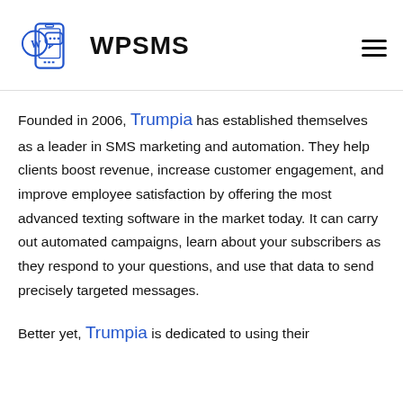[Figure (logo): WPSMS logo with WordPress icon and speech bubble phone graphic, alongside bold WPSMS brand name text]
Founded in 2006, Trumpia has established themselves as a leader in SMS marketing and automation. They help clients boost revenue, increase customer engagement, and improve employee satisfaction by offering the most advanced texting software in the market today. It can carry out automated campaigns, learn about your subscribers as they respond to your questions, and use that data to send precisely targeted messages.
Better yet, Trumpia is dedicated to using their